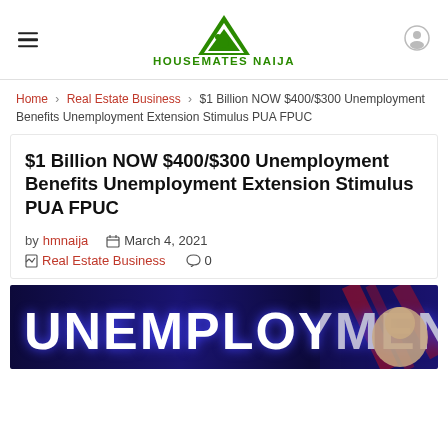HOUSEMATESNAIJA
Home > Real Estate Business > $1 Billion NOW $400/$300 Unemployment Benefits Unemployment Extension Stimulus PUA FPUC
$1 Billion NOW $400/$300 Unemployment Benefits Unemployment Extension Stimulus PUA FPUC
by hmnaija  March 4, 2021  Real Estate Business  0
[Figure (photo): Image showing the word UNEMPLOYMENT in large white bold letters on a dark blue/purple background with diagonal red stripe elements, with a man's face visible on the right side.]